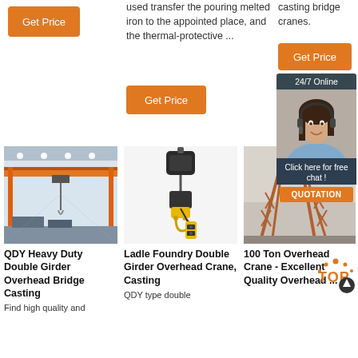[Figure (other): Orange Get Price button top left]
used transfer the pouring melted iron to the appointed place, and the thermal-protective ...
casting bridge cranes.
[Figure (other): Orange Get Price button middle]
[Figure (other): Orange Get Price button right]
[Figure (other): 24/7 Online chat widget with female customer service rep, Click here for free chat, QUOTATION button]
[Figure (photo): Industrial overhead crane inside a factory building]
[Figure (photo): Electric chain hoist with yellow hook]
[Figure (photo): Large outdoor crane structure]
QDY Heavy Duty Double Girder Overhead Bridge Casting
Find high quality and
Ladle Foundry Double Girder Overhead Crane, Casting
QDY type double
100 Ton Overhead Crane - Excellent Quality Overhead ...